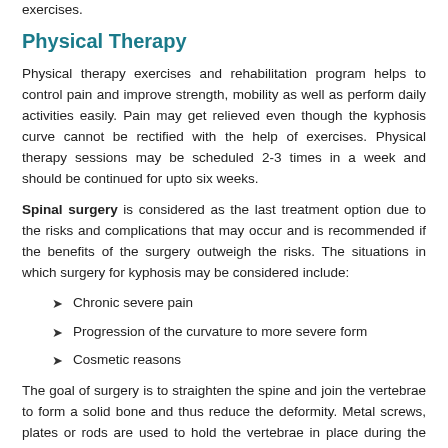exercises.
Physical Therapy
Physical therapy exercises and rehabilitation program helps to control pain and improve strength, mobility as well as perform daily activities easily. Pain may get relieved even though the kyphosis curve cannot be rectified with the help of exercises. Physical therapy sessions may be scheduled 2-3 times in a week and should be continued for upto six weeks.
Spinal surgery is considered as the last treatment option due to the risks and complications that may occur and is recommended if the benefits of the surgery outweigh the risks. The situations in which surgery for kyphosis may be considered include:
Chronic severe pain
Progression of the curvature to more severe form
Cosmetic reasons
The goal of surgery is to straighten the spine and join the vertebrae to form a solid bone and thus reduce the deformity. Metal screws, plates or rods are used to hold the vertebrae in place during the fusion.